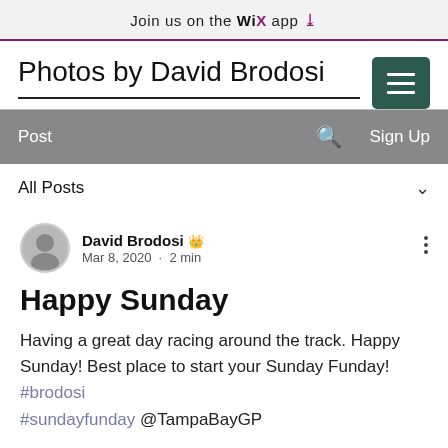Join us on the WiX app
Photos by David Brodosi
Post  🔍  Sign Up
All Posts
David Brodosi 👑
Mar 8, 2020 · 2 min
Happy Sunday
Having a great day racing around the track. Happy Sunday! Best place to start your Sunday Funday! #brodosi #sundayfunday @TampaBayGP